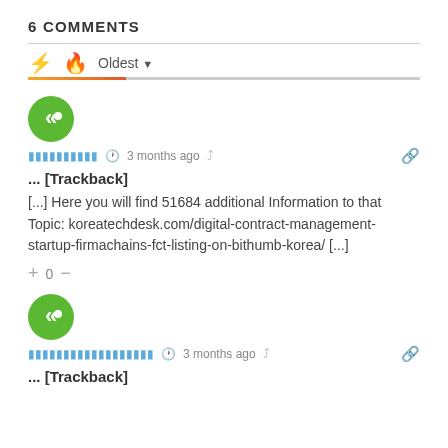6 COMMENTS
Oldest (sort dropdown)
[Figure (other): User avatar green circle with K icon]
Thai username  ·  3 months ago
... [Trackback]
[...] Here you will find 51684 additional Information to that Topic: koreatechdesk.com/digital-contract-management-startup-firmachains-fct-listing-on-bithumb-korea/ [...]
+ 0 −
[Figure (other): User avatar green circle with K icon]
Thai username long  ·  3 months ago
... [Trackback]